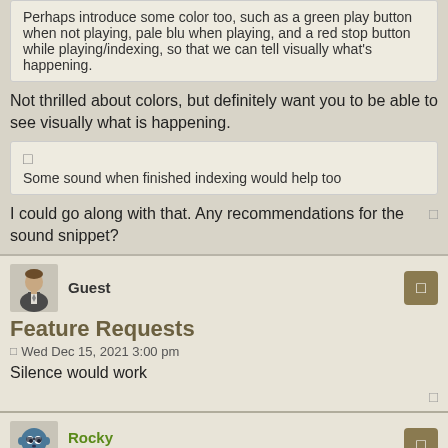Perhaps introduce some color too, such as a green play button when not playing, pale blu when playing, and a red stop button while playing/indexing, so that we can tell visually what's happening.
Not thrilled about colors, but definitely want you to be able to see visually what is happening.
Some sound when finished indexing would help too
I could go along with that. Any recommendations for the sound snippet?
Guest
Feature Requests
Wed Dec 15, 2021 3:00 pm
Silence would work
Rocky
Moose Approved
Feature Requests
Wed Dec 15, 2021 3:10 pm